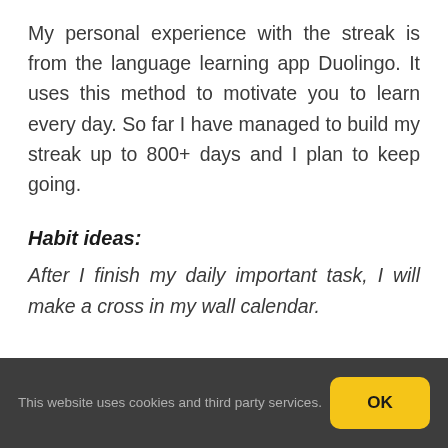My personal experience with the streak is from the language learning app Duolingo. It uses this method to motivate you to learn every day. So far I have managed to build my streak up to 800+ days and I plan to keep going.
Habit ideas:
After I finish my daily important task, I will make a cross in my wall calendar.
This website uses cookies and third party services.